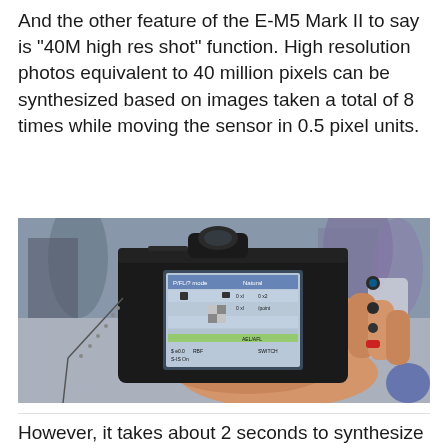And the other feature of the E-M5 Mark II to say is "40M high res shot" function. High resolution photos equivalent to 40 million pixels can be synthesized based on images taken a total of 8 times while moving the sensor in 0.5 pixel units.
[Figure (photo): A person holding a black Olympus E-M5 Mark II mirrorless camera from behind, showing the rear LCD screen with camera settings menu visible. The background shows a blurred indoor event or exhibition setting.]
However, it takes about 2 seconds to synthesize 40M high